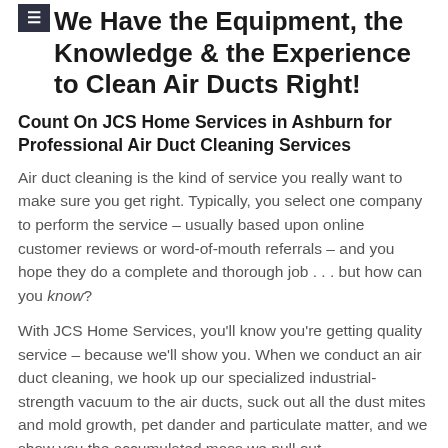We Have the Equipment, the Knowledge & the Experience to Clean Air Ducts Right!
Count On JCS Home Services in Ashburn for Professional Air Duct Cleaning Services
Air duct cleaning is the kind of service you really want to make sure you get right. Typically, you select one company to perform the service – usually based upon online customer reviews or word-of-mouth referrals – and you hope they do a complete and thorough job . . . but how can you know?
With JCS Home Services, you'll know you're getting quality service – because we'll show you. When we conduct an air duct cleaning, we hook up our specialized industrial-strength vacuum to the air ducts, suck out all the dust mites and mold growth, pet dander and particulate matter, and we show you the accumulated mass we pull out.